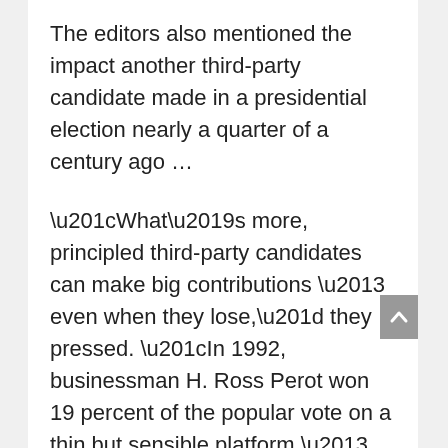The editors also mentioned the impact another third-party candidate made in a presidential election nearly a quarter of a century ago …
“What’s more, principled third-party candidates can make big contributions – even when they lose,” they pressed. “In 1992, businessman H. Ross Perot won 19 percent of the popular vote on a thin but sensible platform – much of it constructed around reducing federal deficits. That strong showing by Perot – the relative centrist – influenced how